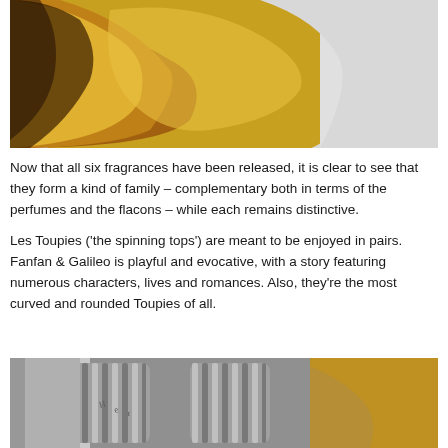[Figure (photo): Close-up photo of a perfume bottle with golden/amber liquid and dark reflections, cropped at the bottom of the bottle.]
Now that all six fragrances have been released, it is clear to see that they form a kind of family – complementary both in terms of the perfumes and the flacons – while each remains distinctive.
Les Toupies ('the spinning tops') are meant to be enjoyed in pairs. Fanfan & Galileo is playful and evocative, with a story featuring numerous characters, lives and romances. Also, they're the most curved and rounded Toupies of all.
[Figure (photo): Close-up photo of perfume bottle tops/caps with silver ribbed metallic caps and amber glass, partially visible.]